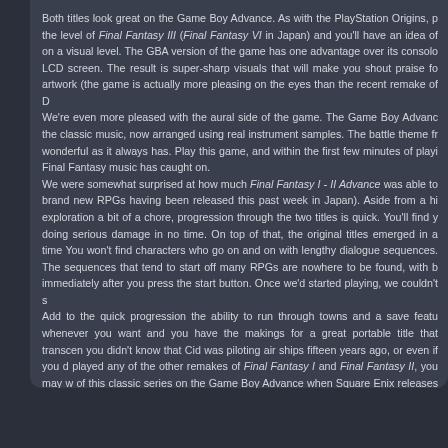Both titles look great on the Game Boy Advance. As with the PlayStation Origins, picture the level of Final Fantasy III (Final Fantasy VI in Japan) and you'll have an idea of on a visual level. The GBA version of the game has one advantage over its console LCD screen. The result is super-sharp visuals that will make you shout praise for artwork (the game is actually more pleasing on the eyes than the recent remake of D
We're even more pleased with the aural side of the game. The Game Boy Advance the classic music, now arranged using real instrument samples. The battle theme fr wonderful as it always has. Play this game, and within the first few minutes of play Final Fantasy music has caught on.
We were somewhat surprised at how much Final Fantasy I - II Advance was able to brand new RPGs having been released this past week in Japan). Aside from a hi exploration a bit of a chore, progression through the two titles is quick. You'll find doing serious damage in no time. On top of that, the original titles emerged in a time You won't find characters who go on and on with lengthy dialogue sequences. The sequences that tend to start off many RPGs are nowhere to be found, with b immediately after you press the start button. Once we'd started playing, we couldn't s
Add to the quick progression the ability to run through towns and a save featu whenever you want and you have the makings for a great portable title that transcen you didn't know that Cid was piloting air ships fifteen years ago, or even if you d played any of the other remakes of Final Fantasy I and Final Fantasy II, you may w of this classic series on the Game Boy Advance when Square Enix releases Fi America.